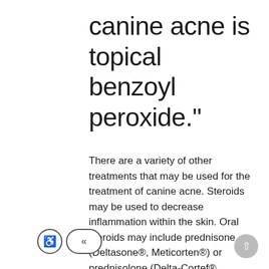canine acne is topical benzoyl peroxide."
There are a variety of other treatments that may be used for the treatment of canine acne. Steroids may be used to decrease inflammation within the skin. Oral steroids may include prednisone (Deltasone®, Meticorten®) or prednisolone (Delta-Cortef®, PreднисTab®), while topical steroids often include betamethasone (Celestone®, BetaVet®) or fluocinolone (Synotic®).